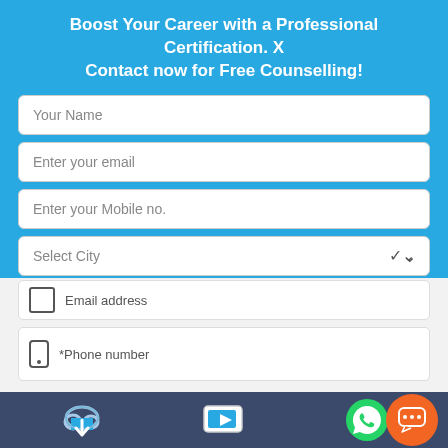Boost Your Career with a Professional Certification. X Contact now for Free Counselling!
[Figure (screenshot): Web form with fields: Your Name, Enter your email, Enter your Mobile no., Select City dropdown, Program dropdown, and Enquire Now button on blue background]
[Figure (screenshot): Lower section showing Email address field with checkbox icon and Phone number field with phone icon]
[Figure (infographic): Bottom navigation bar with cloud download icon, video play icon, WhatsApp green icon, and orange chat bubble icon]